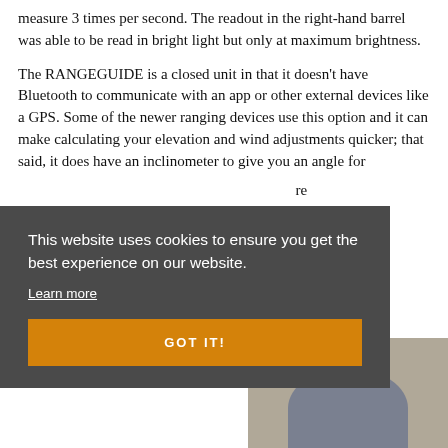measure 3 times per second. The readout in the right-hand barrel was able to be read in bright light but only at maximum brightness.
The RANGEGUIDE is a closed unit in that it doesn't have Bluetooth to communicate with an app or other external devices like a GPS. Some of the newer ranging devices use this option and it can make calculating your elevation and wind adjustments quicker; that said, it does have an inclinometer to give you an angle for [partially obscured text] ...re ...wn ...t ...of
This website uses cookies to ensure you get the best experience on our website.
Learn more
GOT IT!
[Figure (photo): Partial image of a device or product visible at the bottom right of the page, partially obscured by the cookie consent banner.]